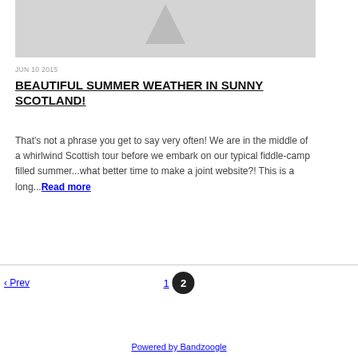[Figure (photo): Partially visible grey image placeholder with a person silhouette icon at top]
JUN 10 2015
BEAUTIFUL SUMMER WEATHER IN SUNNY SCOTLAND!
That's not a phrase you get to say very often! We are in the middle of a whirlwind Scottish tour before we embark on our typical fiddle-camp filled summer...what better time to make a joint website?! This is a long... Read more
‹ Prev   1   2
Powered by Bandzoogle